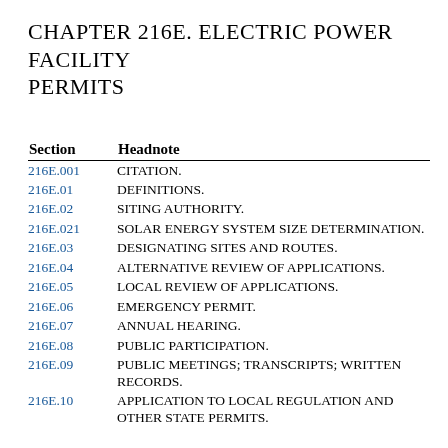CHAPTER 216E. ELECTRIC POWER FACILITY PERMITS
| Section | Headnote |
| --- | --- |
| 216E.001 | CITATION. |
| 216E.01 | DEFINITIONS. |
| 216E.02 | SITING AUTHORITY. |
| 216E.021 | SOLAR ENERGY SYSTEM SIZE DETERMINATION. |
| 216E.03 | DESIGNATING SITES AND ROUTES. |
| 216E.04 | ALTERNATIVE REVIEW OF APPLICATIONS. |
| 216E.05 | LOCAL REVIEW OF APPLICATIONS. |
| 216E.06 | EMERGENCY PERMIT. |
| 216E.07 | ANNUAL HEARING. |
| 216E.08 | PUBLIC PARTICIPATION. |
| 216E.09 | PUBLIC MEETINGS; TRANSCRIPTS; WRITTEN RECORDS. |
| 216E.10 | APPLICATION TO LOCAL REGULATION AND OTHER STATE PERMITS. |